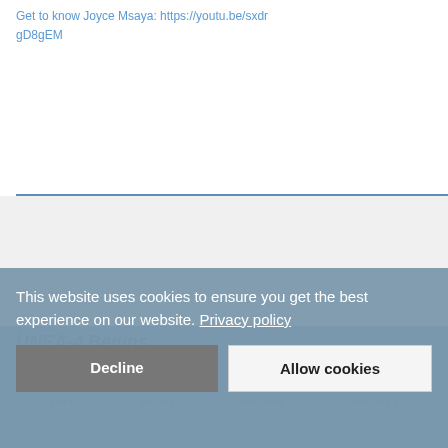Get to know Joyce Msaya: https://youtu.be/sxdrgD8gEM
UNEA-4 Begins...
This website uses cookies to ensure you get the best experience on our website. Privacy policy
0 DAYS  00 HOURS  00 MINUTES  00 SECONDS